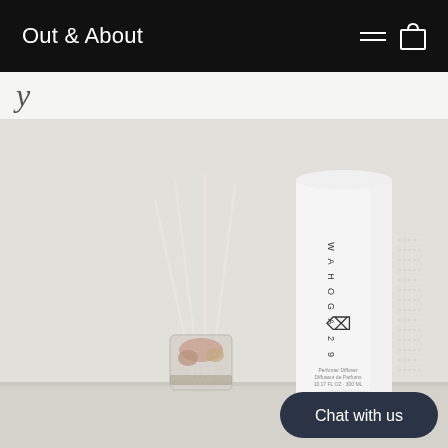Out & About
y
[Figure (photo): Product photo of a reed diffuser set on a light grey surface. A white cylindrical bottle labeled 'WAHOGA 29' with a small figure icon stands prominently. Next to it is a glass jar with dried flowers and white reed sticks fanned out. A 'Chat with us' button appears in the lower right.]
Chat with us